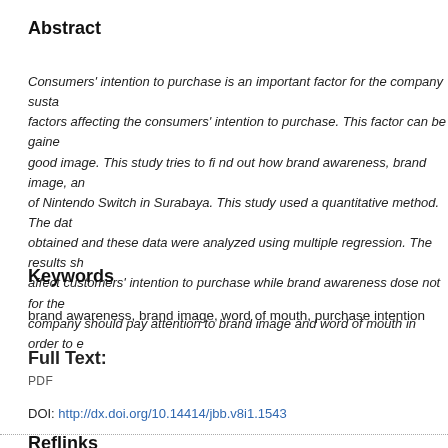Abstract
Consumers' intention to purchase is an important factor for the company susta... factors affecting the consumers' intention to purchase. This factor can be gaine... good image. This study tries to fi nd out how brand awareness, brand image, an... of Nintendo Switch in Surabaya. This study used a quantitative method. The dat... obtained and these data were analyzed using multiple regression. The results sh... affect customers' intention to purchase while brand awareness dose not for the ... company should pay attention to brand image and word of mouth in order to e...
Keywords
brand awareness, brand image, word of mouth, purchase intention
Full Text:
PDF
DOI: http://dx.doi.org/10.14414/jbb.v8i1.1543
Reflinks